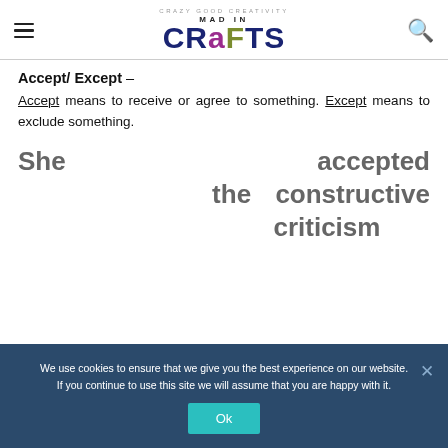Mad In Crafts - Crazy Good Creativity
Accept/ Except –
Accept means to receive or agree to something. Except means to exclude something.
She accepted the constructive criticism
We use cookies to ensure that we give you the best experience on our website. If you continue to use this site we will assume that you are happy with it.